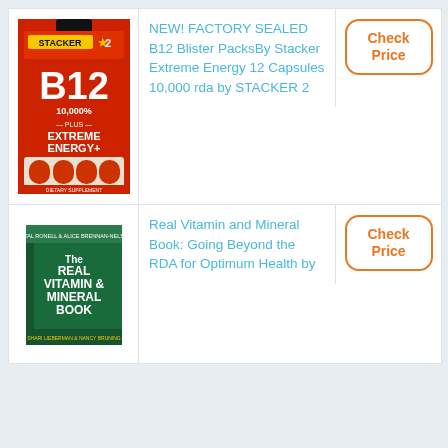[Figure (photo): Stacker 2 B12 10,000% Extreme Energy blister pack with orange capsules]
NEW! FACTORY SEALED B12 Blister PacksBy Stacker Extreme Energy 12 Capsules 10,000 rda by STACKER 2
Check Price
[Figure (photo): The Real Vitamin & Mineral Book: Going Beyond the RDA for Optimum Health - book cover]
Real Vitamin and Mineral Book: Going Beyond the RDA for Optimum Health by
Check Price